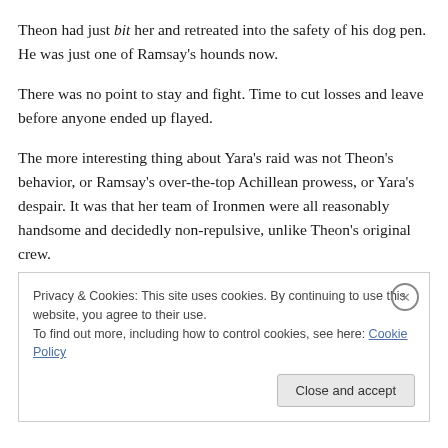Theon had just bit her and retreated into the safety of his dog pen. He was just one of Ramsay's hounds now.
There was no point to stay and fight. Time to cut losses and leave before anyone ended up flayed.
The more interesting thing about Yara's raid was not Theon's behavior, or Ramsay's over-the-top Achillean prowess, or Yara's despair. It was that her team of Ironmen were all reasonably handsome and decidedly non-repulsive, unlike Theon's original crew.
Privacy & Cookies: This site uses cookies. By continuing to use this website, you agree to their use. To find out more, including how to control cookies, see here: Cookie Policy